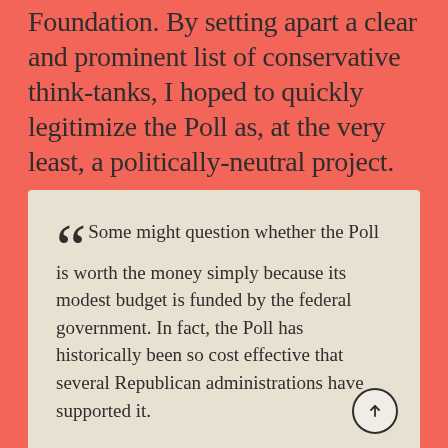Foundation. By setting apart a clear and prominent list of conservative think-tanks, I hoped to quickly legitimize the Poll as, at the very least, a politically-neutral project.
Some might question whether the Poll is worth the money simply because its modest budget is funded by the federal government. In fact, the Poll has historically been so cost effective that several Republican administrations have supported it.